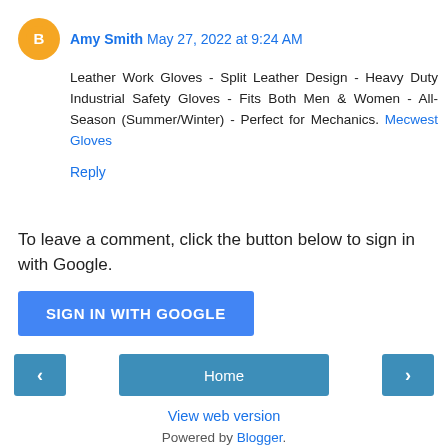Amy Smith  May 27, 2022 at 9:24 AM
Leather Work Gloves - Split Leather Design - Heavy Duty Industrial Safety Gloves - Fits Both Men & Women - All-Season (Summer/Winter) - Perfect for Mechanics. Mecwest Gloves
Reply
To leave a comment, click the button below to sign in with Google.
[Figure (other): Blue 'SIGN IN WITH GOOGLE' button]
[Figure (other): Navigation bar with left arrow button, Home button, and right arrow button]
View web version
Powered by Blogger.